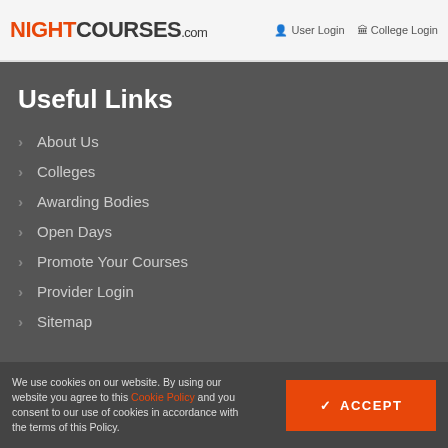NIGHTCOURSES.com   User Login   College Login
Useful Links
> About Us
> Colleges
> Awarding Bodies
> Open Days
> Promote Your Courses
> Provider Login
> Sitemap
We use cookies on our website. By using our website you agree to this Cookie Policy and you consent to our use of cookies in accordance with the terms of this Policy.